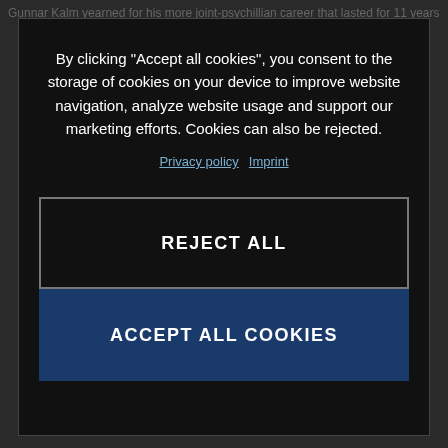Gunnar Kalm yearned for his more joint-psychillian career that lasted for 11 years
By clicking “Accept all cookies”, you consent to the storage of cookies on your device to improve website navigation, analyze website usage and support our marketing efforts. Cookies can also be rejected.
Privacy policy  Imprint
REJECT ALL
ACCEPT ALL COOKIES